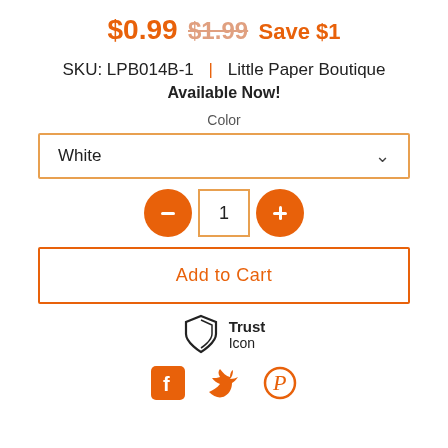$0.99 $1.99 Save $1
SKU: LPB014B-1 | Little Paper Boutique
Available Now!
Color
White
[Figure (infographic): Quantity selector with minus button, quantity 1, and plus button]
Add to Cart
[Figure (illustration): Trust shield icon with text Trust Icon]
[Figure (infographic): Social media icons: Facebook, Twitter, Pinterest]